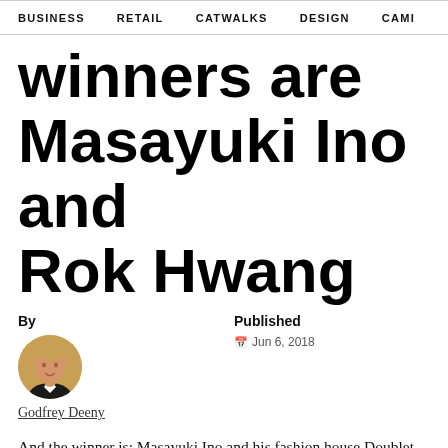BUSINESS   RETAIL   CATWALKS   DESIGN   CAMI   >
winners are Masayuki Ino and Rok Hwang
By
Published
Jun 6, 2018
Godfrey Deeny
And the winner is: Masayuki Ino and his fashion house Doublet. The label nabbed the top award in the LVMH